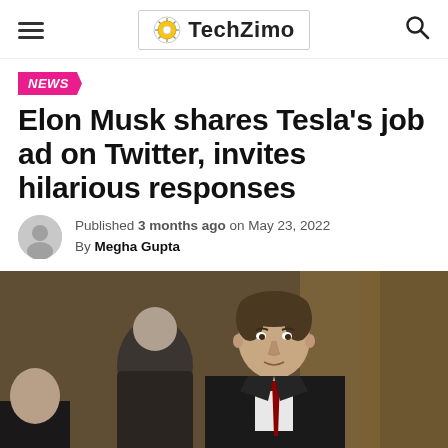TechZimo
NEWS
Elon Musk shares Tesla's job ad on Twitter, invites hilarious responses
Published 3 months ago on May 23, 2022
By Megha Gupta
[Figure (photo): Elon Musk in a dark suit and red tie, standing in a lobby environment with other people in the background]